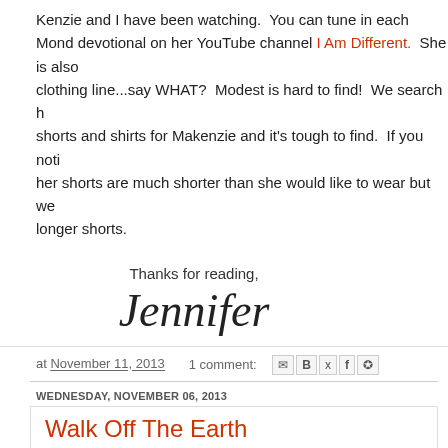Kenzie and I have been watching. You can tune in each Monday for a devotional on her YouTube channel I Am Different. She is also starting a clothing line...say WHAT? Modest is hard to find! We search high and low for shorts and shirts for Makenzie and it's tough to find. If you notice in pictures her shorts are much shorter than she would like to wear but we can't always find longer shorts.
Thanks for reading,
[Figure (illustration): Handwritten cursive signature reading 'Jennifer']
at November 11, 2013   1 comment:
WEDNESDAY, NOVEMBER 06, 2013
Walk Off The Earth
[Figure (photo): Small broken/loading image placeholder]